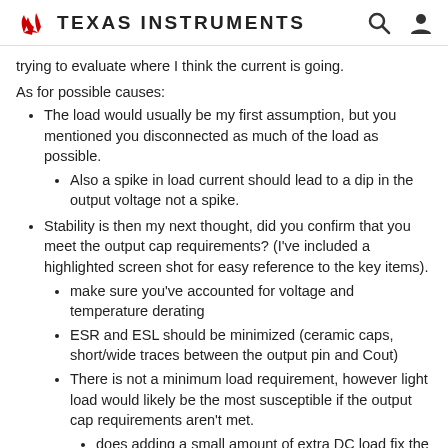Texas Instruments
trying to evaluate where I think the current is going.
As for possible causes:
The load would usually be my first assumption, but you mentioned you disconnected as much of the load as possible.
Also a spike in load current should lead to a dip in the output voltage not a spike.
Stability is then my next thought, did you confirm that you meet the output cap requirements? (I've included a highlighted screen shot for easy reference to the key items).
make sure you've accounted for voltage and temperature derating
ESR and ESL should be minimized (ceramic caps, short/wide traces between the output pin and Cout)
There is not a minimum load requirement, however light load would likely be the most susceptible if the output cap requirements aren't met.
does adding a small amount of extra DC load fix the issue?